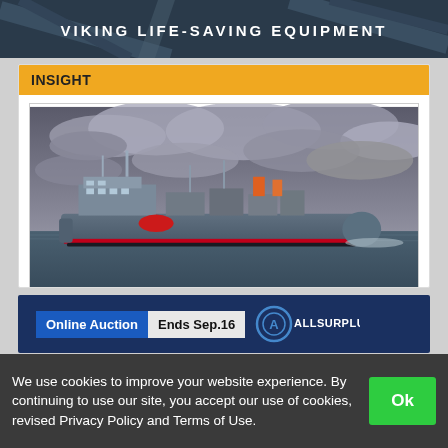VIKING LIFE-SAVING EQUIPMENT
INSIGHT
[Figure (photo): Large offshore FPSO vessel at sea under dramatic cloudy sky, with industrial equipment on deck and red hull markings]
This Decade's Oil Boom is Moving Offshore – Way Offshore
[Figure (other): Advertisement banner: Online Auction | Ends Sep.16 | ALLSURPLUS logo]
We use cookies to improve your website experience. By continuing to use our site, you accept our use of cookies, revised Privacy Policy and Terms of Use.